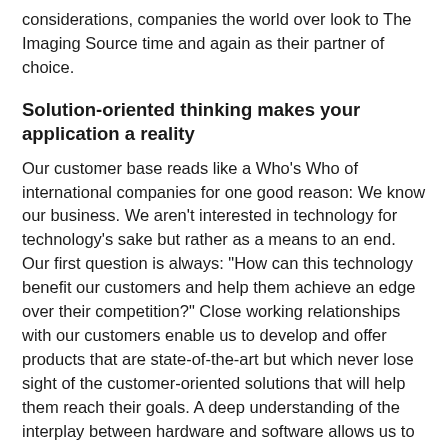considerations, companies the world over look to The Imaging Source time and again as their partner of choice.
Solution-oriented thinking makes your application a reality
Our customer base reads like a Who's Who of international companies for one good reason: We know our business. We aren't interested in technology for technology's sake but rather as a means to an end. Our first question is always: "How can this technology benefit our customers and help them achieve an edge over their competition?" Close working relationships with our customers enable us to develop and offer products that are state-of-the-art but which never lose sight of the customer-oriented solutions that will help them reach their goals. A deep understanding of the interplay between hardware and software allows us to advise our